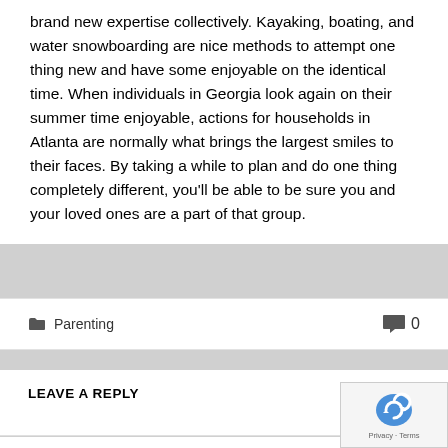brand new expertise collectively. Kayaking, boating, and water snowboarding are nice methods to attempt one thing new and have some enjoyable on the identical time. When individuals in Georgia look again on their summer time enjoyable, actions for households in Atlanta are normally what brings the largest smiles to their faces. By taking a while to plan and do one thing completely different, you'll be able to be sure you and your loved ones are a part of that group.
Parenting   0
LEAVE A REPLY
Your email address will not be published. Required fields are marked *